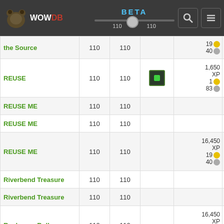WOWDB BETA
| Name | Level | Max Level | Icon | Rewards | Type |
| --- | --- | --- | --- | --- | --- |
| the Source | 110 | 110 |  | 19 gold 40 silver | Br |
| REUSE | 110 | 110 | (icon) | 1,650 XP 1 gold 83 silver | High |
| REUSE ME | 110 | 110 |  |  | Su |
| REUSE ME | 110 | 110 |  |  | Su |
| REUSE ME | 110 | 110 |  | 16,450 XP 19 gold 40 silver | E |
| Riverbend Treasure | 110 | 110 |  |  | High |
| Riverbend Treasure | 110 | 110 |  |  | High |
| Rockaway Bully | 110 | 110 |  | 16,450 XP 19 gold 40 silver | High |